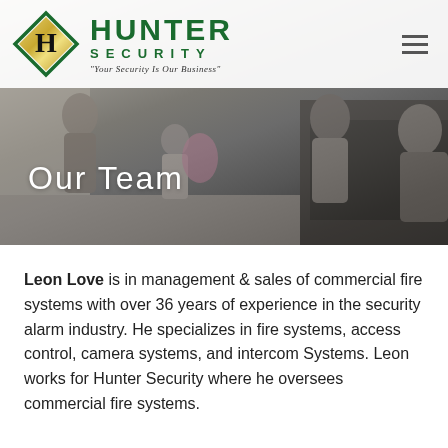[Figure (photo): Hunter Security company logo with green diamond shape containing gold 'H', green 'HUNTER SECURITY' text and tagline]
[Figure (photo): Hero background photo of a family near a car in a driveway, with dark overlay]
Our Team
Leon Love is in management & sales of commercial fire systems with over 36 years of experience in the security alarm industry. He specializes in fire systems, access control, camera systems, and intercom Systems. Leon works for Hunter Security where he oversees commercial fire systems.